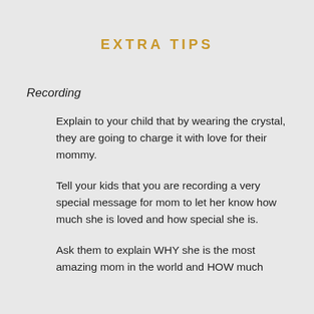EXTRA TIPS
Recording
Explain to your child that by wearing the crystal, they are going to charge it with love for their mommy.
Tell your kids that you are recording a very special message for mom to let her know how much she is loved and how special she is.
Ask them to explain WHY she is the most amazing mom in the world and HOW much